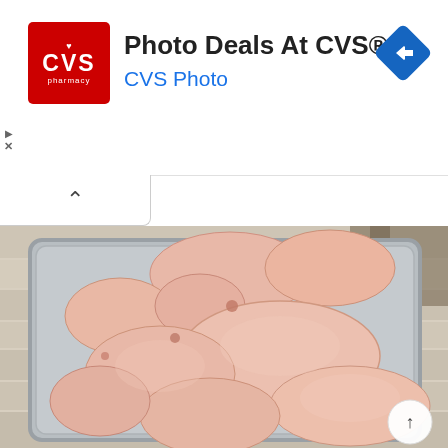[Figure (screenshot): CVS Pharmacy advertisement banner showing CVS logo (red square with white heart and CVS pharmacy text), headline 'Photo Deals At CVS®', subtext 'CVS Photo' in blue, and a blue diamond navigation icon on the right. Below is a collapse/accordion button with an up caret. Below that is a photo of raw chicken pieces on a metal baking tray placed on a white wooden surface. A circular scroll-to-top button is visible in the bottom right corner.]